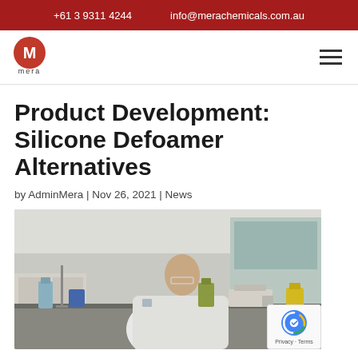+61 3 9311 4244   info@merachemicals.com.au
[Figure (logo): Mera Chemicals logo – red circle with white M, 'mera' text below]
Product Development: Silicone Defoamer Alternatives
by AdminMera | Nov 26, 2021 | News
[Figure (photo): Laboratory scene with a bald man in a white lab coat working at a bench with various glass bottles and equipment, wearing safety glasses]